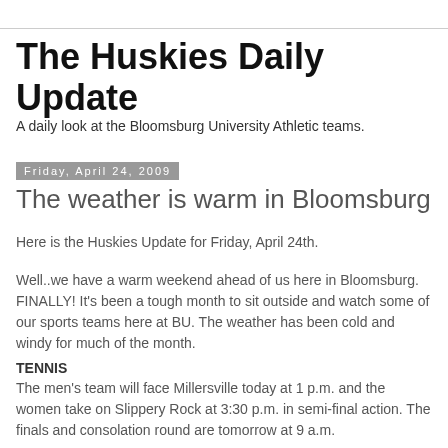The Huskies Daily Update
A daily look at the Bloomsburg University Athletic teams.
Friday, April 24, 2009
The weather is warm in Bloomsburg
Here is the Huskies Update for Friday, April 24th.
Well..we have a warm weekend ahead of us here in Bloomsburg. FINALLY! It's been a tough month to sit outside and watch some of our sports teams here at BU. The weather has been cold and windy for much of the month.
TENNIS
The men's team will face Millersville today at 1 p.m. and the women take on Slippery Rock at 3:30 p.m. in semi-final action. The finals and consolation round are tomorrow at 9 a.m.